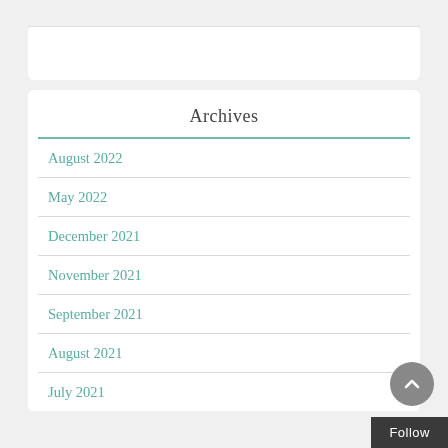Archives
August 2022
May 2022
December 2021
November 2021
September 2021
August 2021
July 2021